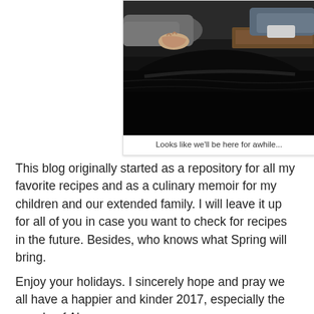[Figure (photo): Dark interior photo showing hands resting on what appears to be a dark leather booth or seat, with a table visible in the background. Dimly lit restaurant or waiting area scene.]
Looks like we'll be here for awhile...
This blog originally started as a repository for all my favorite recipes and as a culinary memoir for my children and our extended family.  I will leave it up for all of you in case you want to check for recipes in the future.  Besides, who knows what Spring will bring.
Enjoy your holidays.  I sincerely hope and pray we all have a happier and kinder 2017,  especially the people of Aleppo